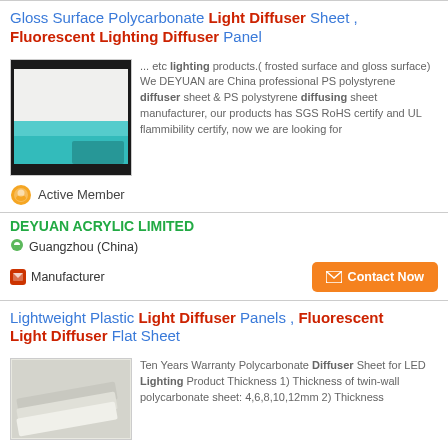Gloss Surface Polycarbonate Light Diffuser Sheet , Fluorescent Lighting Diffuser Panel
[Figure (photo): Photo of a polycarbonate light diffuser sheet with teal/turquoise and white surfaces against a dark background]
... etc lighting products.( frosted surface and gloss surface) We DEYUAN are China professional PS polystyrene diffuser sheet & PS polystyrene diffusing sheet manufacturer, our products has SGS RoHS certify and UL flammibility certify, now we are looking for
Active Member
DEYUAN ACRYLIC LIMITED
Guangzhou (China)
Manufacturer
Contact Now
Lightweight Plastic Light Diffuser Panels , Fluorescent Light Diffuser Flat Sheet
[Figure (photo): Photo of lightweight plastic light diffuser flat sheets, light grey/white color]
Ten Years Warranty Polycarbonate Diffuser Sheet for LED Lighting Product Thickness 1) Thickness of twin-wall polycarbonate sheet: 4,6,8,10,12mm 2) Thickness